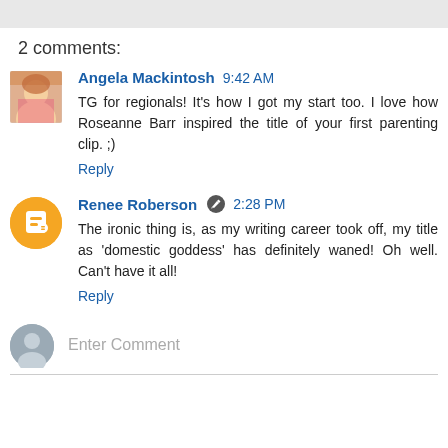2 comments:
Angela Mackintosh 9:42 AM
TG for regionals! It's how I got my start too. I love how Roseanne Barr inspired the title of your first parenting clip. ;)
Reply
Renee Roberson 2:28 PM
The ironic thing is, as my writing career took off, my title as 'domestic goddess' has definitely waned! Oh well. Can't have it all!
Reply
Enter Comment